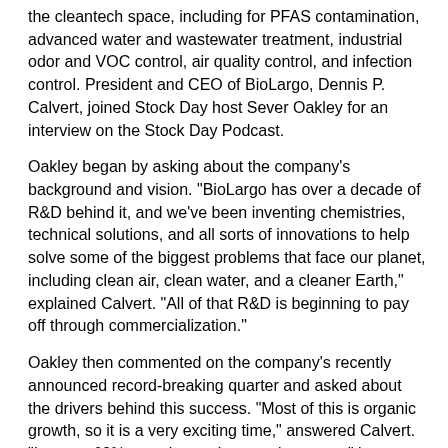the cleantech space, including for PFAS contamination, advanced water and wastewater treatment, industrial odor and VOC control, air quality control, and infection control. President and CEO of BioLargo, Dennis P. Calvert, joined Stock Day host Sever Oakley for an interview on the Stock Day Podcast.
Oakley began by asking about the company's background and vision. "BioLargo has over a decade of R&D behind it, and we've been inventing chemistries, technical solutions, and all sorts of innovations to help solve some of the biggest problems that face our planet, including clean air, clean water, and a cleaner Earth," explained Calvert. "All of that R&D is beginning to pay off through commercialization."
Oakley then commented on the company's recently announced record-breaking quarter and asked about the drivers behind this success. "Most of this is organic growth, so it is a very exciting time," answered Calvert. "It was a 69% growth over last year's quarter," he added, noting that the company brought in nearly a million in revenue in the first quarter of 2022.
The conversation then turned to the company's technology that treats water contaminated with per- and polyfluoroalkyl substances (PFAS). Calvert explained, "PFAS are 'forever chemicals' which have been used for about 35 years in all sorts of plastic coatings… PFAS has been linked to adverse health effects, including cancer."